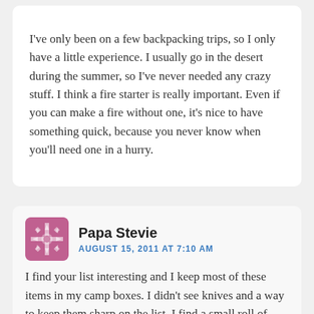I've only been on a few backpacking trips, so I only have a little experience. I usually go in the desert during the summer, so I've never needed any crazy stuff. I think a fire starter is really important. Even if you can make a fire without one, it's nice to have something quick, because you never know when you'll need one in a hurry.
Papa Stevie
AUGUST 15, 2011 AT 7:10 AM
I find your list interesting and I keep most of these items in my camp boxes. I didn't see knives and a way to keep them sharp on the list. I find a small roll of duct tape, tie wire, and